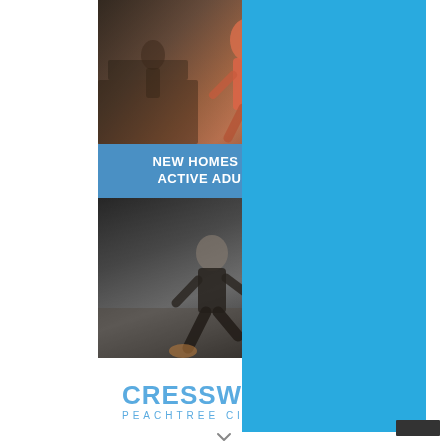[Figure (photo): Woman running on treadmill in gym, color photo]
NEW HOMES FOR ACTIVE ADULTS
[Figure (photo): Person running outdoors, black and white photo]
[Figure (logo): Cresswind Peachtree City logo with blue text]
55+ Community